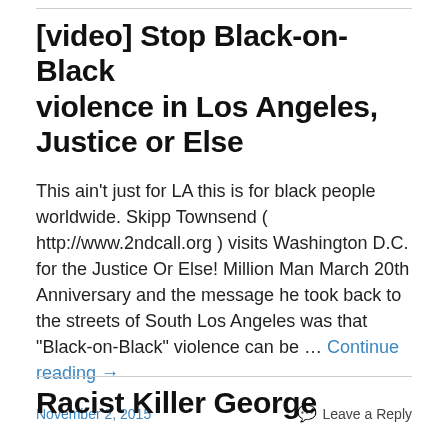[video] Stop Black-on-Black violence in Los Angeles, Justice or Else
This ain't just for LA this is for black people worldwide. Skipp Townsend ( http://www.2ndcall.org ) visits Washington D.C. for the Justice Or Else! Million Man March 20th Anniversary and the message he took back to the streets of South Los Angeles was that "Black-on-Black" violence can be … Continue reading →
November 2, 2015    Leave a Reply
Racist Killer George